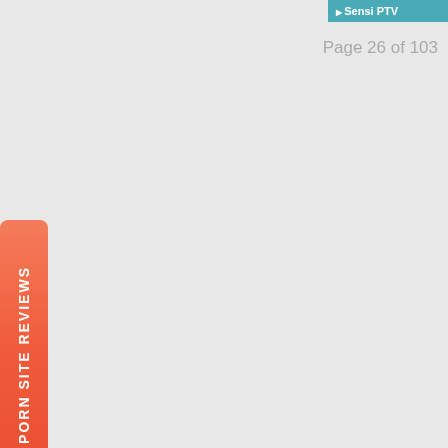Sensi PTV
Page 26 of 103
PORN SITE REVIEWS